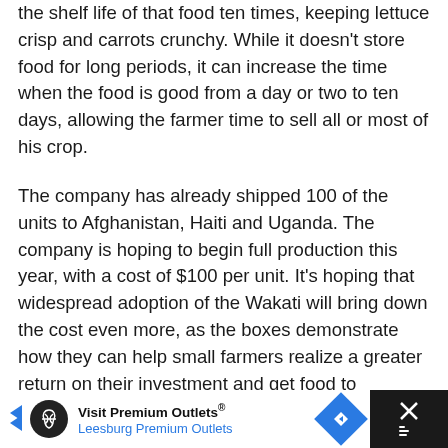the shelf life of that food ten times, keeping lettuce crisp and carrots crunchy. While it doesn't store food for long periods, it can increase the time when the food is good from a day or two to ten days, allowing the farmer time to sell all or most of his crop.
The company has already shipped 100 of the units to Afghanistan, Haiti and Uganda. The company is hoping to begin full production this year, with a cost of $100 per unit. It's hoping that widespread adoption of the Wakati will bring down the cost even more, as the boxes demonstrate how they can help small farmers realize a greater return on their investment and get food to populations that need it.
[Figure (other): Advertisement banner for Visit Premium Outlets - Leesburg Premium Outlets, with logo, navigation arrow icon, and close button]